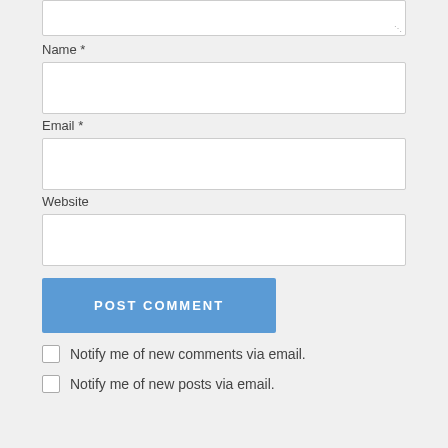[Figure (screenshot): Top of a comment form textarea (partial, cropped at top), showing only the bottom portion of a white text area with a resize handle in the bottom-right corner.]
Name *
[Figure (screenshot): Name input field — empty white rectangle text input]
Email *
[Figure (screenshot): Email input field — empty white rectangle text input]
Website
[Figure (screenshot): Website input field — empty white rectangle text input]
Post Comment
Notify me of new comments via email.
Notify me of new posts via email.